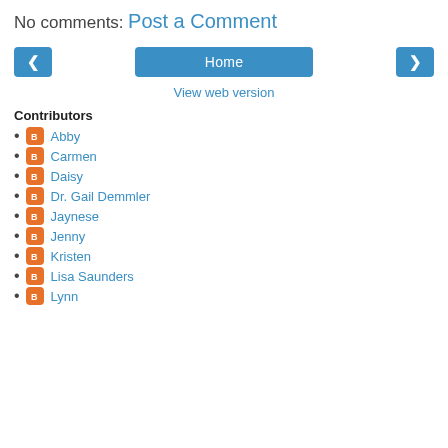No comments:
Post a Comment
[Figure (screenshot): Navigation row with left arrow button, Home button, and right arrow button]
View web version
Contributors
Abby
Carmen
Daisy
Dr. Gail Demmler
Jaynese
Jenny
Kristen
Lisa Saunders
Lynn